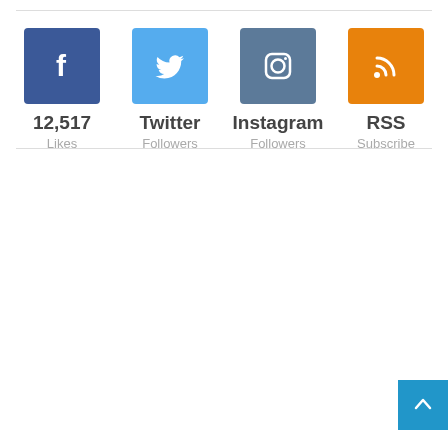[Figure (infographic): Facebook icon box (blue square with white 'f' logo)]
12,517
Likes
[Figure (infographic): Twitter icon box (light blue square with white bird logo)]
Twitter
Followers
[Figure (infographic): Instagram icon box (steel blue square with white camera logo)]
Instagram
Followers
[Figure (infographic): RSS icon box (orange square with white RSS signal logo)]
RSS
Subscribe
[Figure (infographic): Blue back-to-top button with white upward arrow, bottom-right corner]